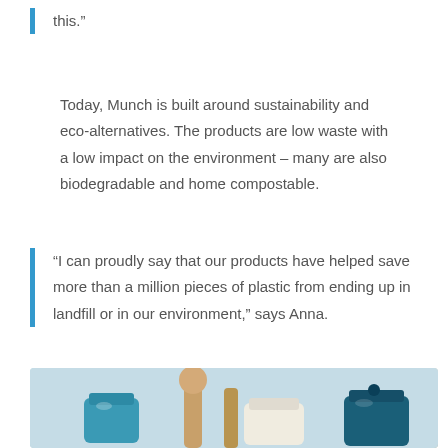this.”
Today, Munch is built around sustainability and eco-alternatives. The products are low waste with a low impact on the environment – many are also biodegradable and home compostable.
“I can proudly say that our products have helped save more than a million pieces of plastic from ending up in landfill or in our environment,” says Anna.
[Figure (photo): Photo of eco-friendly products including wooden utensils and teal/blue containers on a light background]